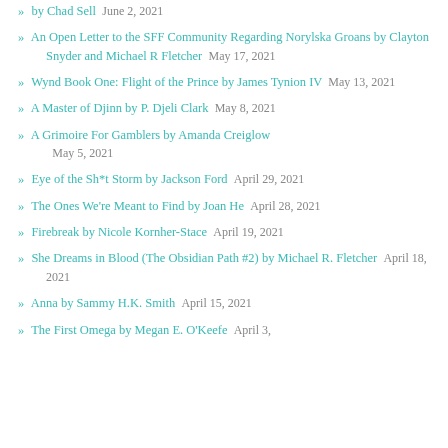by Chad Sell  June 2, 2021
An Open Letter to the SFF Community Regarding Norylska Groans by Clayton Snyder and Michael R Fletcher  May 17, 2021
Wynd Book One: Flight of the Prince by James Tynion IV  May 13, 2021
A Master of Djinn by P. Djeli Clark  May 8, 2021
A Grimoire For Gamblers by Amanda Creiglow  May 5, 2021
Eye of the Sh*t Storm by Jackson Ford  April 29, 2021
The Ones We're Meant to Find by Joan He  April 28, 2021
Firebreak by Nicole Kornher-Stace  April 19, 2021
She Dreams in Blood (The Obsidian Path #2) by Michael R. Fletcher  April 18, 2021
Anna by Sammy H.K. Smith  April 15, 2021
The First Omega by Megan E. O'Keefe  April 3, 2021